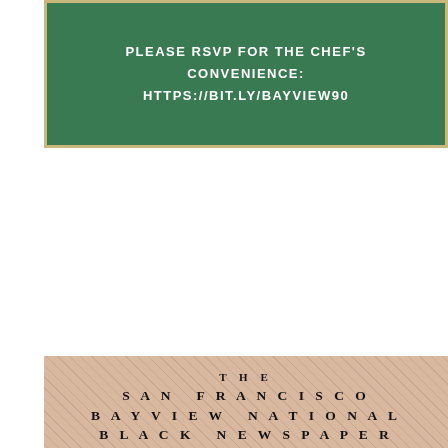[Figure (infographic): Green banner with cream border. Text reads: PLEASE RSVP FOR THE CHEF'S CONVENIENCE: HTTPS://BIT.LY/BAYVIEW90]
[Figure (infographic): SF Bay View National Black Newspaper flyer with peach/tan background. Includes newspaper title, tagline BLACK VOICES - BLACK NEWS - BLACK LIBERATION, PAID OPPORTUNITY FOR CHANGEMAKERS headline, and text about Community Journalism Program inviting passionate people in San Francisco to capture stories and do grassroots reporting in Bayview Hunters.]